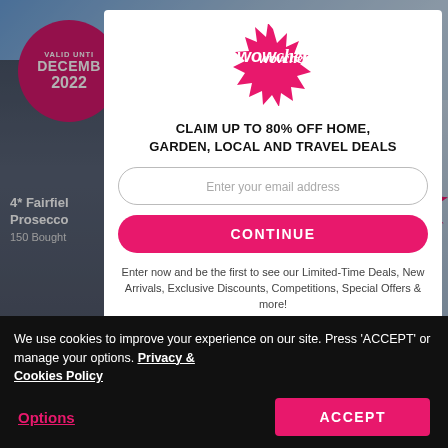[Figure (screenshot): Wowcher website screenshot with a modal popup overlay on top of a hotel deal page. Background shows a 4-star hotel building photo with a pink badge reading VALID UNTIL DECEMBER 2022, deal text '4* Fairfield... Prosecco... 150 Bought', and a NOW £119 price badge. A white modal dialog is centered with the Wowcher logo, headline, email input, CONTINUE button, and subtext. At the bottom is a black cookie consent bar.]
CLAIM UP TO 80% OFF HOME, GARDEN, LOCAL AND TRAVEL DEALS
Enter your email address
CONTINUE
Enter now and be the first to see our Limited-Time Deals, New Arrivals, Exclusive Discounts, Competitions, Special Offers & more!
We use cookies to improve your experience on our site. Press 'ACCEPT' or manage your options. Privacy & Cookies Policy
Options
ACCEPT